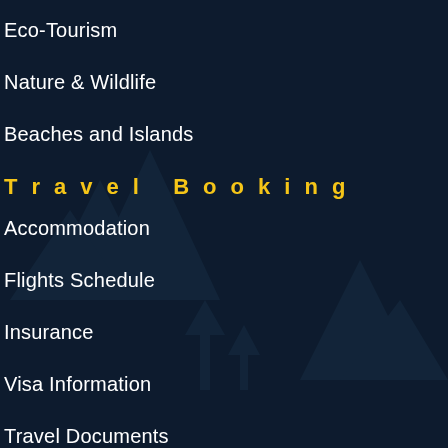Eco-Tourism
Nature & Wildlife
Beaches and Islands
Travel Booking
Accommodation
Flights Schedule
Insurance
Visa Information
Travel Documents